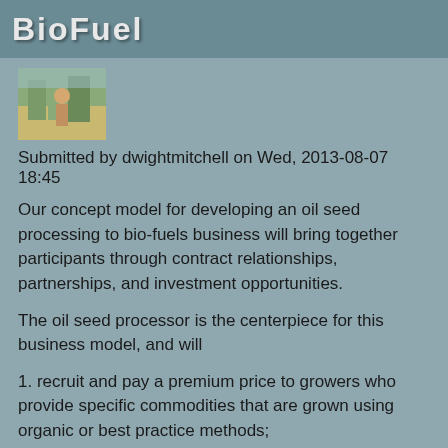BioFuel
[Figure (photo): Small thumbnail photo showing an outdoor scene with a person and vegetation]
Submitted by dwightmitchell on Wed, 2013-08-07 18:45
Our concept model for developing an oil seed processing to bio-fuels business will bring together participants through contract relationships, partnerships, and investment opportunities.
The oil seed processor is the centerpiece for this business model, and will
1. recruit and pay a premium price to growers who provide specific commodities that are grown using organic or best practice methods;
2. process the seed to food grade oil;